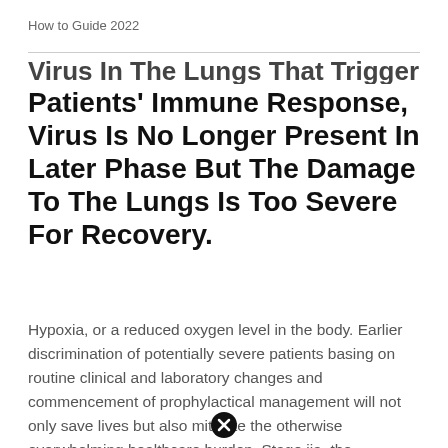How to Guide 2022
Virus In The Lungs That Trigger Patients' Immune Response, Virus Is No Longer Present In Later Phase But The Damage To The Lungs Is Too Severe For Recovery.
Hypoxia, or a reduced oxygen level in the body. Earlier discrimination of potentially severe patients basing on routine clinical and laboratory changes and commencement of prophylactical management will not only save lives but also mitigate the otherwise overwhelming healthcare burden. Stage iia, the pneumonia patient without hypoxia, and stage iib, is the pneumonia patient with hypoxia who will likely require hospitalization